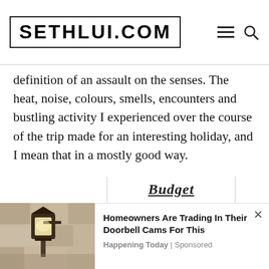SETHLUI.COM
definition of an assault on the senses. The heat, noise, colours, smells, encounters and bustling activity I experienced over the course of the trip made for an interesting holiday, and I mean that in a mostly good way.
[Figure (screenshot): Advertisement box with bold italic text 'Budget' and body text 'Let's Find the Right Fuel Card for Your Business. Search Now.']
[Figure (photo): Outdoor wall lantern light fixture mounted on a stone/stucco wall]
Homeowners Are Trading In Their Doorbell Cams For This
Happening Today | Sponsored